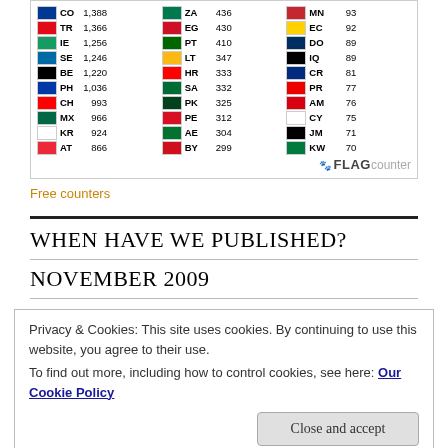[Figure (infographic): Flag counter widget showing country codes and visitor counts: CO 1,388 / TR 1,366 / IE 1,256 / SE 1,246 / BE 1,220 / PH 1,036 / CH 993 / MX 966 / KR 924 / AT 866 | ZA 436 / EG 430 / PT 410 / LT 347 / HR 333 / SA 332 / PK 325 / PE 312 / AE 304 / BY 299 | MN 93 / EC 92 / DO 89 / IQ 89 / CR 81 / PR 77 / AM 76 / CY 75 / JM 71 / KW 70]
Free counters
WHEN HAVE WE PUBLISHED?
NOVEMBER 2009
Privacy & Cookies: This site uses cookies. By continuing to use this website, you agree to their use.
To find out more, including how to control cookies, see here: Our Cookie Policy
Close and accept